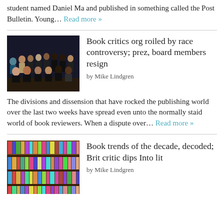student named Daniel Ma and published in something called the Post Bulletin. Young… Read more »
[Figure (photo): Group photo of people, mostly dressed in black, posing together in rows for a formal group portrait]
Book critics org roiled by race controversy; prez, board members resign
by Mike Lindgren
The divisions and dissension that have rocked the publishing world over the last two weeks have spread even unto the normally staid world of book reviewers. When a dispute over… Read more »
[Figure (photo): Colorful books arranged on wooden library shelves, viewed from below]
Book trends of the decade, decoded; Brit critic dips Into lit
by Mike Lindgren